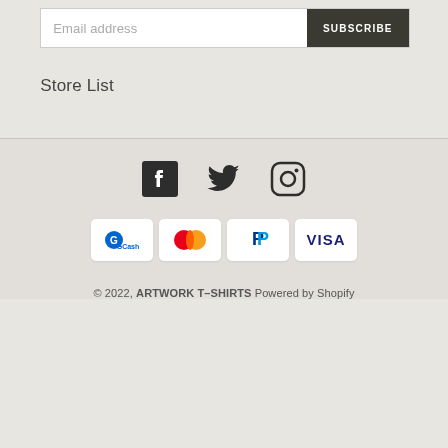Email address
SUBSCRIBE
Store List
[Figure (other): Social media icons: Facebook, Twitter, Instagram]
[Figure (other): Payment method icons: GCash, Mastercard, PayPal, Visa]
© 2022, ARTWORK T-SHIRTS Powered by Shopify